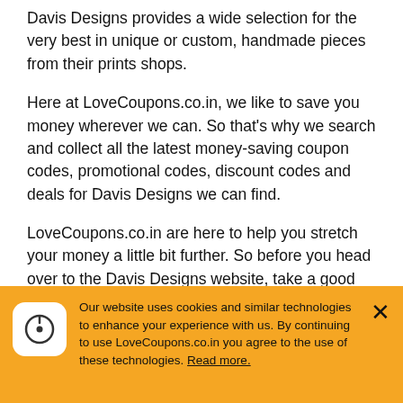Davis Designs provides a wide selection for the very best in unique or custom, handmade pieces from their prints shops.
Here at LoveCoupons.co.in, we like to save you money wherever we can. So that's why we search and collect all the latest money-saving coupon codes, promotional codes, discount codes and deals for Davis Designs we can find.
LoveCoupons.co.in are here to help you stretch your money a little bit further. So before you head over to the Davis Designs website, take a good look at all our money-saving offers to see what you can save.
Our website uses cookies and similar technologies to enhance your experience with us. By continuing to use LoveCoupons.co.in you agree to the use of these technologies. Read more.